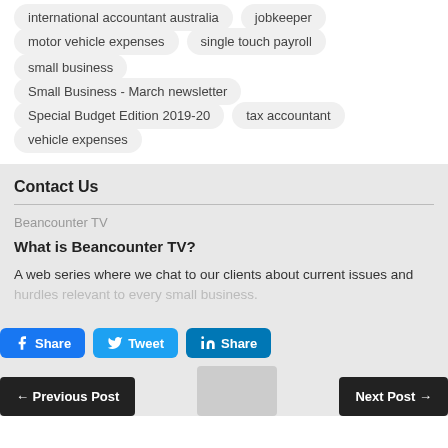international accountant australia
jobkeeper
motor vehicle expenses
single touch payroll
small business
Small Business - March newsletter
Special Budget Edition 2019-20
tax accountant
vehicle expenses
Contact Us
Beancounter TV
What is Beancounter TV?
A web series where we chat to our clients about current issues and hurdles relevant to every small business.